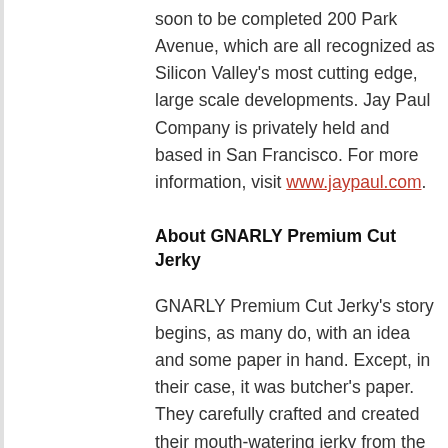soon to be completed 200 Park Avenue, which are all recognized as Silicon Valley's most cutting edge, large scale developments. Jay Paul Company is privately held and based in San Francisco. For more information, visit www.jaypaul.com.
About GNARLY Premium Cut Jerky
GNARLY Premium Cut Jerky's story begins, as many do, with an idea and some paper in hand. Except, in their case, it was butcher's paper. They carefully crafted and created their mouth-watering jerky from the heart, first one flavor combo, then another and soon GNARLY Premium Cut Jerky was born.
Curated recipes with only the finest ingredients added to the best meats from the most renowned purveyors of fine beef, poultry and